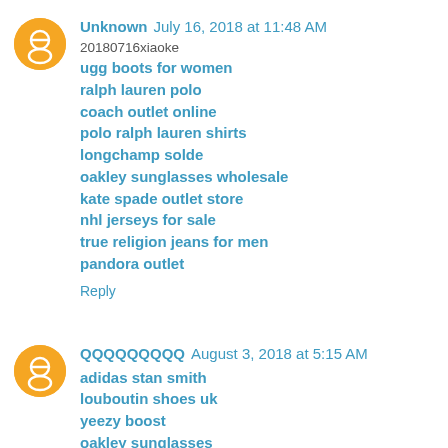Unknown  July 16, 2018 at 11:48 AM
20180716xiaoke
ugg boots for women
ralph lauren polo
coach outlet online
polo ralph lauren shirts
longchamp solde
oakley sunglasses wholesale
kate spade outlet store
nhl jerseys for sale
true religion jeans for men
pandora outlet
Reply
QQQQQQQQQ  August 3, 2018 at 5:15 AM
adidas stan smith
louboutin shoes uk
yeezy boost
oakley sunglasses